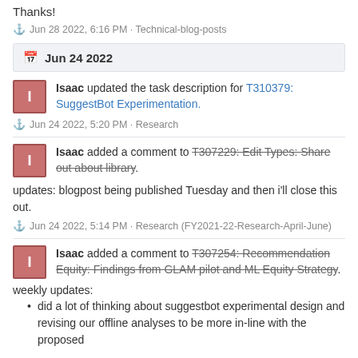Thanks!
⚓ Jun 28 2022, 6:16 PM · Technical-blog-posts
📅 Jun 24 2022
Isaac updated the task description for T310379: SuggestBot Experimentation.
⚓ Jun 24 2022, 5:20 PM · Research
Isaac added a comment to T307229: Edit Types: Share out about library.
updates: blogpost being published Tuesday and then i'll close this out.
⚓ Jun 24 2022, 5:14 PM · Research (FY2021-22-Research-April-June)
Isaac added a comment to T307254: Recommendation Equity: Findings from GLAM pilot and ML Equity Strategy.
weekly updates:
did a lot of thinking about suggestbot experimental design and revising our offline analyses to be more in-line with the proposed